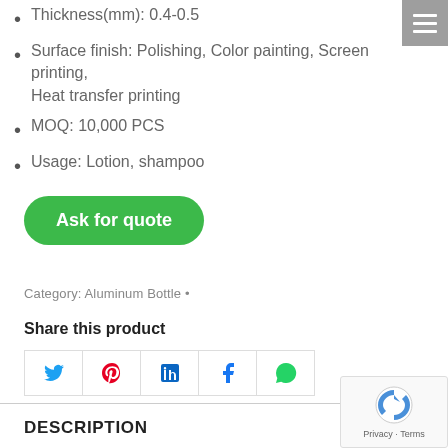Thickness(mm): 0.4-0.5
Surface finish: Polishing, Color painting, Screen printing, Heat transfer printing
MOQ: 10,000 PCS
Usage: Lotion, shampoo
Ask for quote
Category: Aluminum Bottle •
Share this product
DESCRIPTION